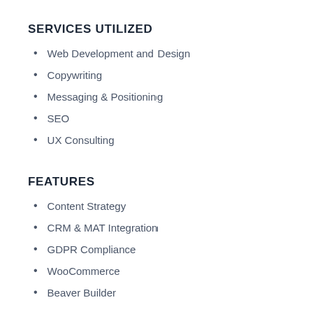SERVICES UTILIZED
Web Development and Design
Copywriting
Messaging & Positioning
SEO
UX Consulting
FEATURES
Content Strategy
CRM & MAT Integration
GDPR Compliance
WooCommerce
Beaver Builder